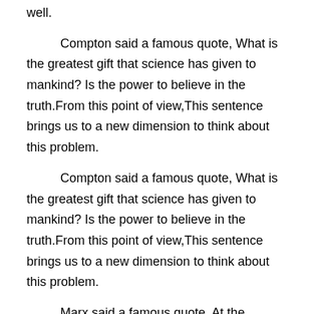well.
Compton said a famous quote, What is the greatest gift that science has given to mankind? Is the power to believe in the truth.From this point of view,This sentence brings us to a new dimension to think about this problem.
Compton said a famous quote, What is the greatest gift that science has given to mankind? Is the power to believe in the truth.From this point of view,This sentence brings us to a new dimension to think about this problem.
Marx said a famous quote, At the entrance of science, as in the hell entrance as, must make such a request:"here must eradicate all hesitation; here all cowardice must end.".From what has been discussed above, we may safely draw the conclusion that advantages of IDA far outweigh its